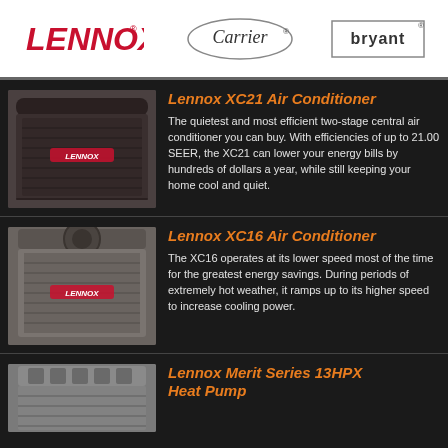[Figure (logo): Lennox logo in red italic bold text with registered trademark]
[Figure (logo): Carrier logo in italic text with oval border and registered trademark]
[Figure (logo): Bryant logo in bold text with rectangular border and registered trademark]
[Figure (illustration): Lennox XC21 dark brown/black air conditioner unit]
Lennox XC21 Air Conditioner
The quietest and most efficient two-stage central air conditioner you can buy. With efficiencies of up to 21.00 SEER, the XC21 can lower your energy bills by hundreds of dollars a year, while still keeping your home cool and quiet.
[Figure (illustration): Lennox XC16 gray/brown air conditioner unit]
Lennox XC16 Air Conditioner
The XC16 operates at its lower speed most of the time for the greatest energy savings. During periods of extremely hot weather, it ramps up to its higher speed to increase cooling power.
[Figure (illustration): Lennox Merit Series 13HPX heat pump unit, partially visible]
Lennox Merit Series  13HPX Heat Pump